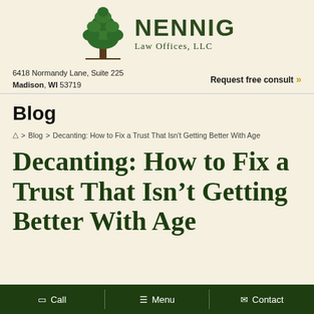[Figure (logo): Nennig Law Offices LLC logo with green tree illustration and firm name]
6418 Normandy Lane, Suite 225
Madison, WI 53719
Request free consult »
Blog
🏠 > Blog > Decanting: How to Fix a Trust That Isn't Getting Better With Age
Decanting: How to Fix a Trust That Isn't Getting Better With Age
Call  Menu  Contact